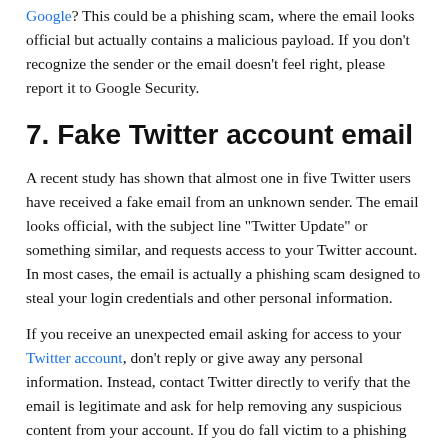Google? This could be a phishing scam, where the email looks official but actually contains a malicious payload. If you don't recognize the sender or the email doesn't feel right, please report it to Google Security.
7. Fake Twitter account email
A recent study has shown that almost one in five Twitter users have received a fake email from an unknown sender. The email looks official, with the subject line "Twitter Update" or something similar, and requests access to your Twitter account. In most cases, the email is actually a phishing scam designed to steal your login credentials and other personal information.
If you receive an unexpected email asking for access to your Twitter account, don't reply or give away any personal information. Instead, contact Twitter directly to verify that the email is legitimate and ask for help removing any suspicious content from your account. If you do fall victim to a phishing scam, be sure to report it to the authorities